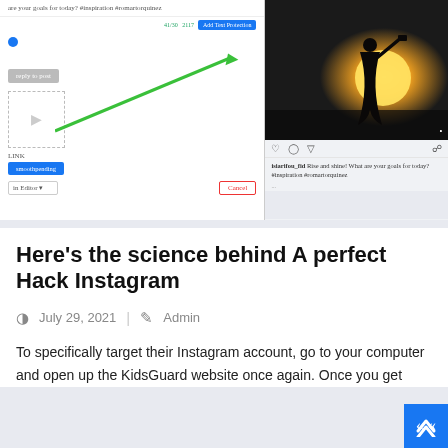[Figure (screenshot): Screenshot of a social media post editor on the left showing a reply button, image upload placeholder, link field with blue button, and a cancel button. On the right is an Instagram post preview showing a silhouette of a person against a sunset, with like, comment, share icons, and a caption.]
Here’s the science behind A perfect Hack Instagram
July 29, 2021  |  Admin
To specifically target their Instagram account, go to your computer and open up the KidsGuard website once again. Once you get